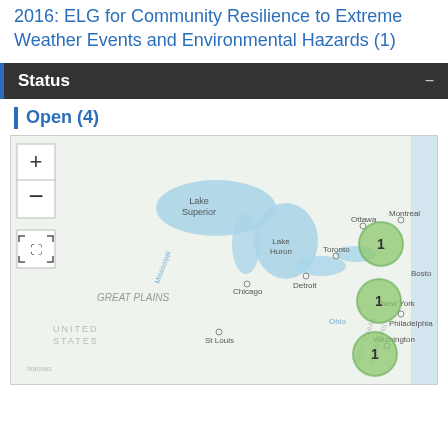2016: ELG for Community Resilience to Extreme Weather Events and Environmental Hazards (1)
Status
Open (4)
[Figure (map): Interactive map showing northeastern United States and southeastern Canada with green cluster markers: one cluster of 1 near Montreal/Toronto area, one cluster of 1 near New York, and one cluster of 1 near Washington DC. Map shows Great Lakes region, cities including Ottawa, Montreal, Toronto, Chicago, Detroit, Boston, Philadelphia, Washington, St Louis. Geographic labels: Lake Superior, Lake Huron, GREAT PLAINS, UNITED STATES, APPALACHIAN MOUNTAINS, Mississippi, Ohio, Arkansas.]